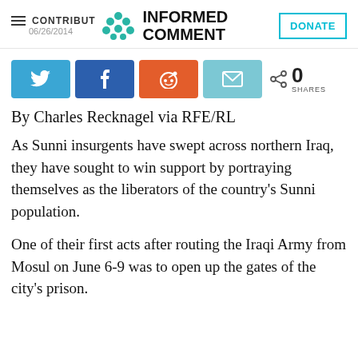CONTRIBUTE · INFORMED COMMENT · 06/26/2014 · DONATE
[Figure (infographic): Social sharing buttons: Twitter, Facebook, Reddit, Email, and share count showing 0 SHARES]
By Charles Recknagel via RFE/RL
As Sunni insurgents have swept across northern Iraq, they have sought to win support by portraying themselves as the liberators of the country's Sunni population.
One of their first acts after routing the Iraqi Army from Mosul on June 6-9 was to open up the gates of the city's prison.